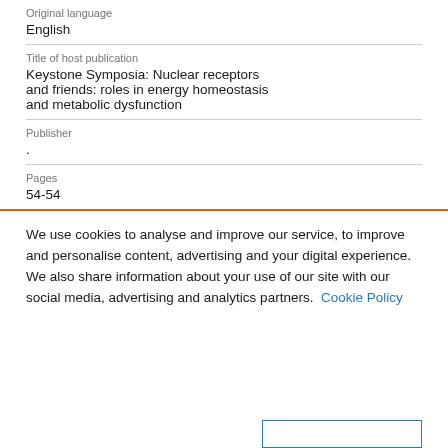Original language
English
Title of host publication
Keystone Symposia: Nuclear receptors and friends: roles in energy homeostasis and metabolic dysfunction
Publisher
.
Pages
54-54
We use cookies to analyse and improve our service, to improve and personalise content, advertising and your digital experience. We also share information about your use of our site with our social media, advertising and analytics partners.  Cookie Policy